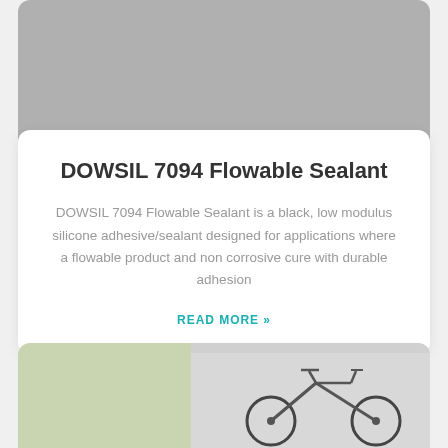[Figure (photo): Gray background product/landscape photo at top of card]
DOWSIL 7094 Flowable Sealant
DOWSIL 7094 Flowable Sealant is a black, low modulus silicone adhesive/sealant designed for applications where a flowable product and non corrosive cure with durable adhesion
READ MORE »
[Figure (photo): Photo at bottom showing a bicycle and outdoor scene with fence and greenery on left side]